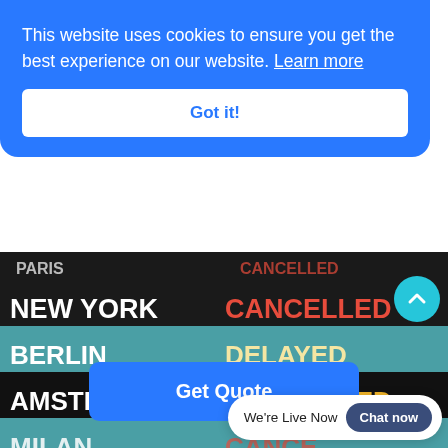Travel Medical Insurance
There is no better travel insurance with COVID-19 coverage. Travel Medical Insurance is perfect for when you travel outside your home country.
This website uses cookies to ensure you get the best experience on our website. Learn more
Got it!
Get Quote
[Figure (photo): Airport departure board showing destinations NEW YORK (CANCELLED), BERLIN (DELAYED), AMSTERDAM (DELAYED), and a partially visible row, all on a split black and teal board with bold white, red, and yellow text.]
We're Live Now
Chat now